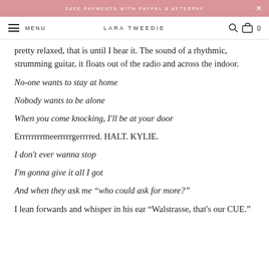SAFE PAYMENTS WITH PAYPAL & AFTERPAY
MENU   LARA TWEEDIE   0
pretty relaxed, that is until I hear it. The sound of a rhythmic, strumming guitar, it floats out of the radio and across the indoor.
No-one wants to stay at home
Nobody wants to be alone
When you come knocking, I'll be at your door
Errrrrrrrmeerrrrrgerrrred. HALT. KYLIE.
I don't ever wanna stop
I'm gonna give it all I got
And when they ask me “who could ask for more?”
I lean forwards and whisper in his ear “Walstrasse, that's our CUE.”